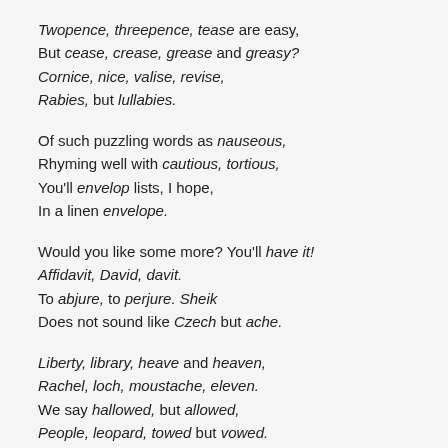Twopence, threepence, tease are easy,
But cease, crease, grease and greasy?
Cornice, nice, valise, revise,
Rabies, but lullabies.
Of such puzzling words as nauseous,
Rhyming well with cautious, tortious,
You'll envelop lists, I hope,
In a linen envelope.
Would you like some more? You'll have it!
Affidavit, David, davit.
To abjure, to perjure. Sheik
Does not sound like Czech but ache.
Liberty, library, heave and heaven,
Rachel, loch, moustache, eleven.
We say hallowed, but allowed,
People, leopard, towed but vowed.
Mark the difference, moreover,
Between mover, plover, Dover.
Leeches, breeches, wise, precise,
Chalice, but police and lice,